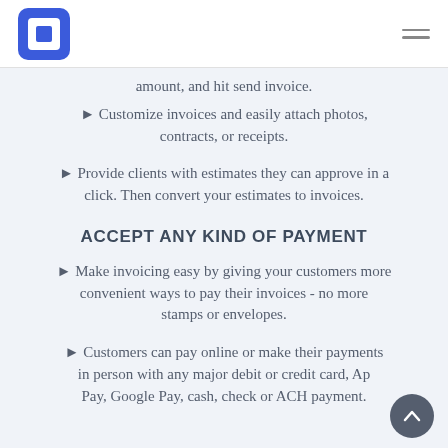Square logo and navigation menu
amount, and hit send invoice.
Customize invoices and easily attach photos, contracts, or receipts.
Provide clients with estimates they can approve in a click. Then convert your estimates to invoices.
ACCEPT ANY KIND OF PAYMENT
Make invoicing easy by giving your customers more convenient ways to pay their invoices - no more stamps or envelopes.
Customers can pay online or make their payments in person with any major debit or credit card, Apple Pay, Google Pay, cash, check or ACH payment.